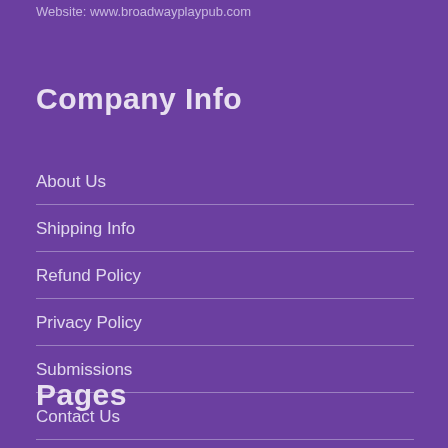Website: www.broadwayplaypub.com
Company Info
About Us
Shipping Info
Refund Policy
Privacy Policy
Submissions
Contact Us
Pages